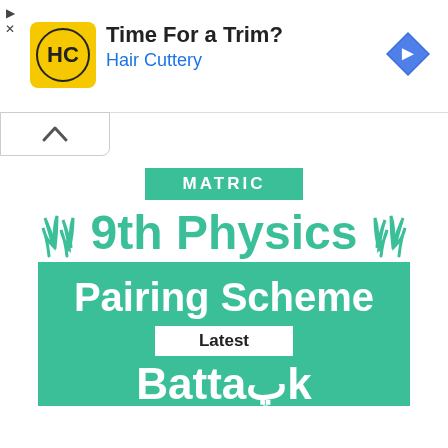[Figure (screenshot): Advertisement banner for Hair Cuttery showing logo, 'Time For a Trim?' text, and navigation icon]
[Figure (infographic): Educational infographic for 9th Physics Pairing Scheme Latest Battapk, with MATRIC badge, grass decorations, and green box design]